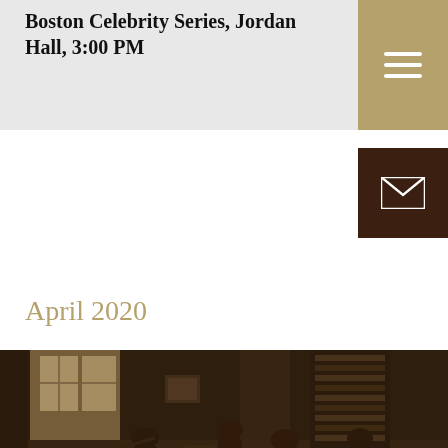Boston Celebrity Series, Jordan Hall, 3:00 PM
April 2020
[Figure (photo): Black and white photograph of a string quartet rehearsing in a room with bookshelves and a window, sepia toned]
April 18